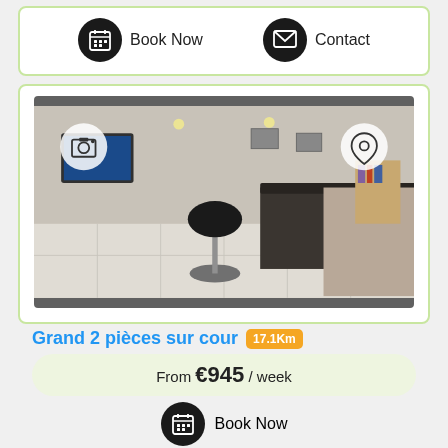[Figure (infographic): Top card with Book Now and Contact buttons with dark circular icons]
[Figure (photo): Interior photo of an apartment with a bar counter, black bar stool chair, tiled floor, TV on wall, and artwork. Camera icon top-left, map pin icon top-right.]
Grand 2 pièces sur cour 17.1Km
From €945 / week
Book Now
[Figure (photo): Partial photo of another apartment listing at the bottom of the page, with camera and map pin icons visible]